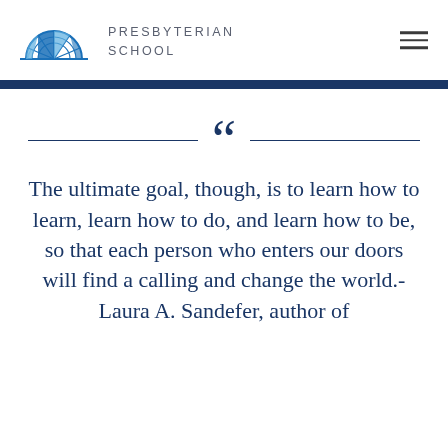[Figure (logo): Presbyterian School logo: blue semicircular arch/fan design above a horizontal baseline]
PRESBYTERIAN
SCHOOL
The ultimate goal, though, is to learn how to learn, learn how to do, and learn how to be, so that each person who enters our doors will find a calling and change the world.- Laura A. Sandefer, author of